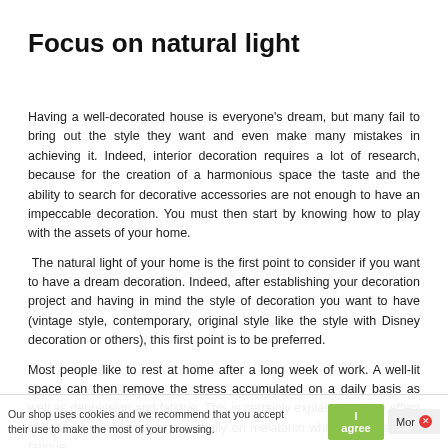Focus on natural light
Having a well-decorated house is everyone's dream, but many fail to bring out the style they want and even make many mistakes in achieving it. Indeed, interior decoration requires a lot of research, because for the creation of a harmonious space the taste and the ability to search for decorative accessories are not enough to have an impeccable decoration. You must then start by knowing how to play with the assets of your home.
The natural light of your home is the first point to consider if you want to have a dream decoration. Indeed, after establishing your decoration project and having in mind the style of decoration you want to have (vintage style, contemporary, original style like the style with Disney decoration or others), this first point is to be preferred.
Most people like to rest at home after a long week of work. A well-lit space can then remove the stress accumulated on a daily basis as well as depression and fatigue. This is certainly explained by the effect of light on our hormones especially on melatonin which regulates our fatigue.
To bathe your interior in natural light, don't hesitate to invest in glass elements. You can equip your home with a bay window that brings as
Our shop uses cookies and we recommend that you accept their use to make the most of your browsing.